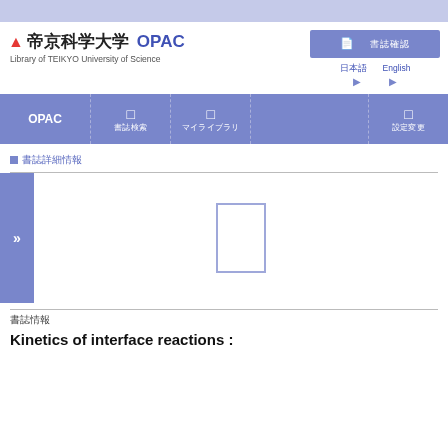[Figure (logo): Teikyo University of Science OPAC logo with red T icon and Japanese text 帝京科学大学 OPAC, subtitle: Library of TEIKYO University of Science]
[Figure (screenshot): Blue search button with Japanese text and language selection row showing Japanese and English options]
[Figure (screenshot): Navigation bar with OPAC and icon menu items in blue/purple]
□　書誌詳細情報
[Figure (photo): Book cover placeholder (white rectangle with blue border)]
書誌情報
Kinetics of interface reactions :